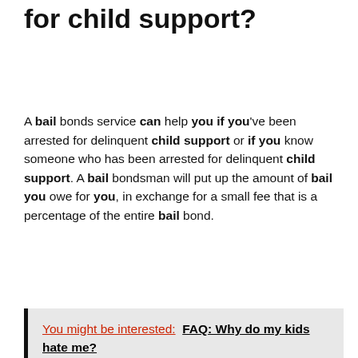for child support?
A bail bonds service can help you if you've been arrested for delinquent child support or if you know someone who has been arrested for delinquent child support. A bail bondsman will put up the amount of bail you owe for you, in exchange for a small fee that is a percentage of the entire bail bond.
You might be interested:  FAQ: Why do my kids hate me?